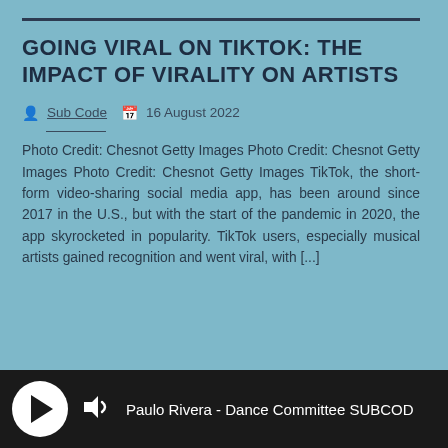GOING VIRAL ON TIKTOK: THE IMPACT OF VIRALITY ON ARTISTS
Sub Code  16 August 2022
Photo Credit: Chesnot Getty Images Photo Credit: Chesnot Getty Images Photo Credit: Chesnot Getty Images TikTok, the short-form video-sharing social media app, has been around since 2017 in the U.S., but with the start of the pandemic in 2020, the app skyrocketed in popularity. TikTok users, especially musical artists gained recognition and went viral, with [...]
Paulo Rivera - Dance Committee SUBCOD